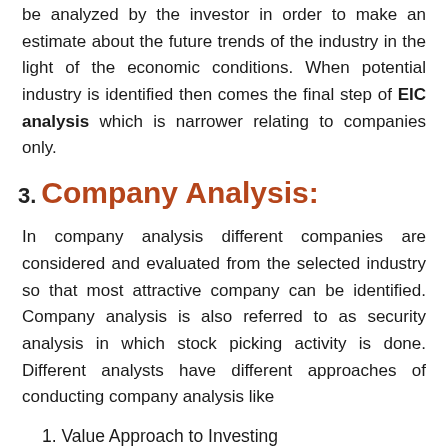be analyzed by the investor in order to make an estimate about the future trends of the industry in the light of the economic conditions. When potential industry is identified then comes the final step of EIC analysis which is narrower relating to companies only.
3. Company Analysis:
In company analysis different companies are considered and evaluated from the selected industry so that most attractive company can be identified. Company analysis is also referred to as security analysis in which stock picking activity is done. Different analysts have different approaches of conducting company analysis like
1. Value Approach to Investing